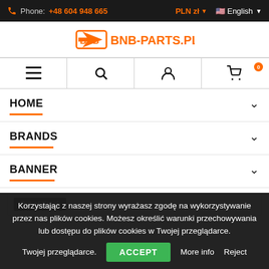Phone: +48 604 948 665 | PLN zł | English
[Figure (logo): BNB-PARTS.PL logo with orange arrow icon and orange text]
[Figure (infographic): Navigation bar with hamburger menu, search, account, and cart icons. Cart shows badge with 0.]
HOME
BRANDS
BANNER
Out-of-Stock
Korzystając z naszej strony wyrażasz zgodę na wykorzystywanie przez nas plików cookies. Możesz określić warunki przechowywania lub dostępu do plików cookies w Twojej przeglądarce.
ACCEPT | More info | Reject